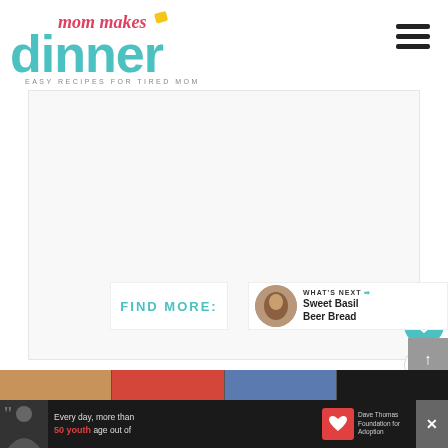[Figure (logo): Mom Makes Dinner logo — teal block letters 'dinner' with cursive red 'mom makes' above, tagline 'EASY RECIPES FOR TIRED MOMS' below]
[Figure (other): Hamburger menu icon — three horizontal black bars]
[Figure (other): Large white/gray blank content area (advertisement or image placeholder)]
[Figure (other): Teal heart icon button with count '1' below and share icon button]
FIND MORE:
WHAT'S NEXT → Sweet Basil Beer Bread
[Figure (photo): Thumbnail strip of food photos at bottom]
[Figure (other): Advertisement banner: 'Every day, more than 50 youth age out of' with Dave Thomas Foundation for Adoption logo]